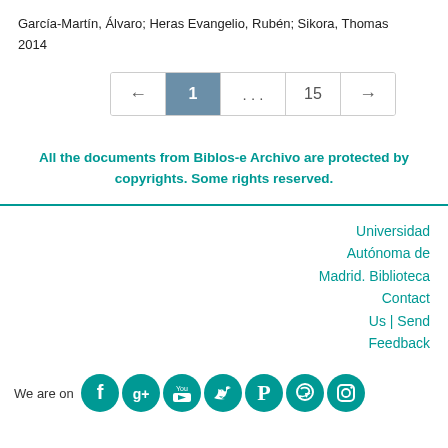García-Martín, Álvaro; Heras Evangelio, Rubén; Sikora, Thomas
2014
← 1 . . . 15 →
All the documents from Biblos-e Archivo are protected by copyrights. Some rights reserved.
Universidad Autónoma de Madrid. Biblioteca
Contact Us | Send Feedback
We are on [social media icons: Facebook, Google+, YouTube, Twitter, Pinterest, WhatsApp, Instagram]